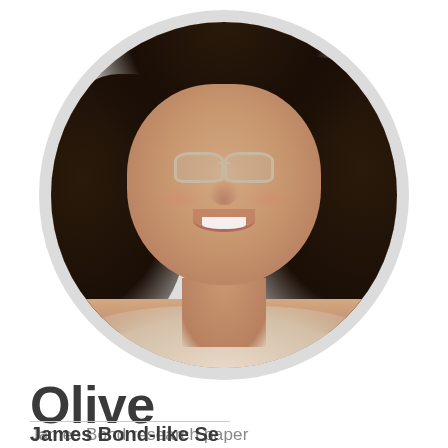[Figure (photo): Circular profile photo of a young woman with dark wavy hair, glasses with light-colored frames, smiling broadly. She is positioned against a light background.]
Olive
James Bond research paper
James Bond-like Se